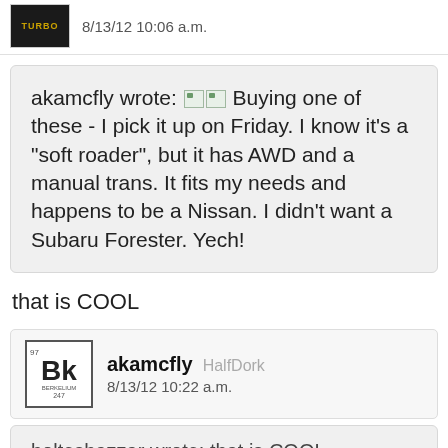8/13/12 10:06 a.m.
akamcfly wrote: [image] [image] Buying one of these - I pick it up on Friday. I know it's a "soft roader", but it has AWD and a manual trans. It fits my needs and happens to be a Nissan. I didn't want a Subaru Forester. Yech!
that is COOL
akamcfly HalfDork 8/13/12 10:22 a.m.
bolteshazzar wrote: that is COOL